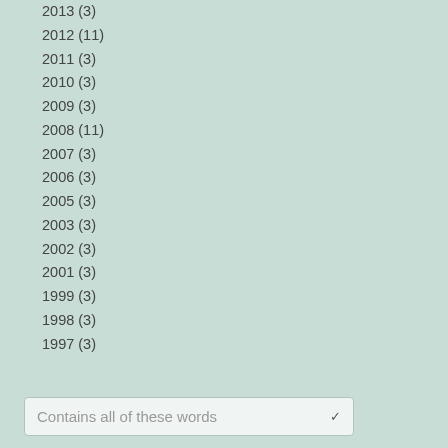2013 (3)
2012 (11)
2011 (3)
2010 (3)
2009 (3)
2008 (11)
2007 (3)
2006 (3)
2005 (3)
2003 (3)
2002 (3)
2001 (3)
1999 (3)
1998 (3)
1997 (3)
Contains all of these words